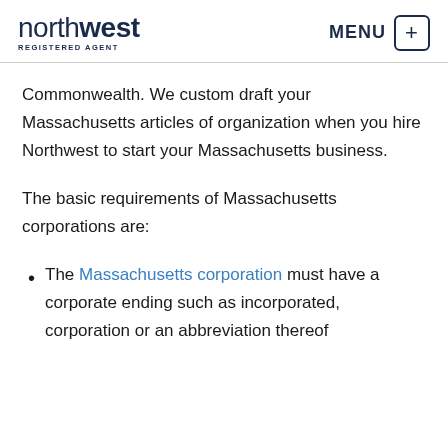northwest REGISTERED AGENT | MENU
Commonwealth. We custom draft your Massachusetts articles of organization when you hire Northwest to start your Massachusetts business.
The basic requirements of Massachusetts corporations are:
The Massachusetts corporation must have a corporate ending such as incorporated, corporation or an abbreviation thereof